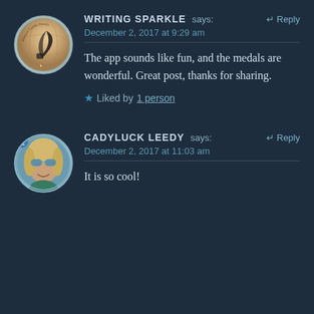[Figure (photo): Circular avatar for Writing Sparkle blog showing a quill pen on a globe/world background with text 'Always Castle Reads' around the edge]
WRITING SPARKLE says:
Reply
December 2, 2017 at 9:29 am
The app sounds like fun, and the medals are wonderful. Great post, thanks for sharing.
★ Liked by 1 person
[Figure (photo): Circular avatar photo of Cadyluck Leedy, a woman with blonde hair wearing blue-tinted sunglasses, smiling]
CADYLUCK LEEDY says:
Reply
December 2, 2017 at 11:03 am
It is so cool!